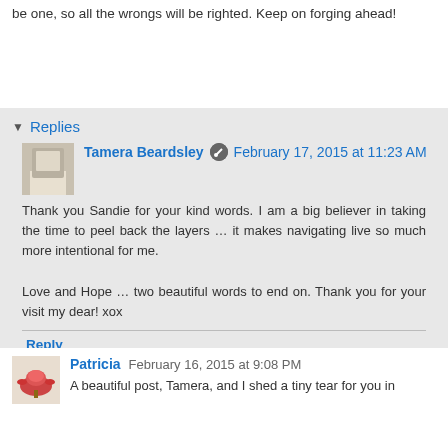be one, so all the wrongs will be righted. Keep on forging ahead!
Reply
Replies
Tamera Beardsley February 17, 2015 at 11:23 AM
Thank you Sandie for your kind words. I am a big believer in taking the time to peel back the layers … it makes navigating live so much more intentional for me.

Love and Hope … two beautiful words to end on. Thank you for your visit my dear! xox
Reply
Patricia February 16, 2015 at 9:08 PM
A beautiful post, Tamera, and I shed a tiny tear for you in